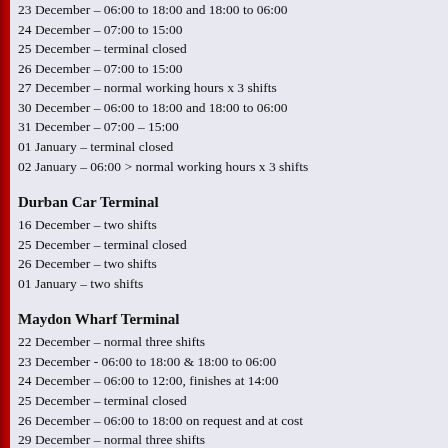23 December – 06:00 to 18:00 and 18:00 to 06:00
24 December – 07:00 to 15:00
25 December – terminal closed
26 December – 07:00 to 15:00
27 December – normal working hours x 3 shifts
30 December – 06:00 to 18:00 and 18:00 to 06:00
31 December – 07:00 – 15:00
01 January – terminal closed
02 January – 06:00 > normal working hours x 3 shifts
Durban Car Terminal
16 December – two shifts
25 December – terminal closed
26 December – two shifts
01 January – two shifts
Maydon Wharf Terminal
22 December – normal three shifts
23 December - 06:00 to 18:00 & 18:00 to 06:00
24 December – 06:00 to 12:00, finishes at 14:00
25 December – terminal closed
26 December – 06:00 to 18:00 on request and at cost
29 December – normal three shifts